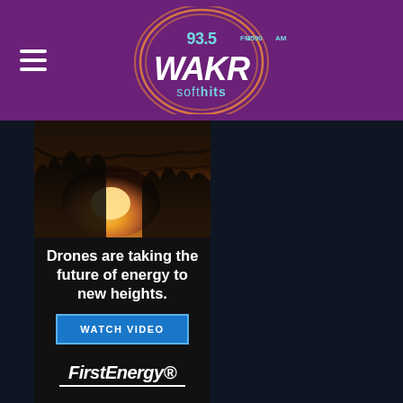[Figure (logo): WAKR 93.5 FM 1590 AM Soft Hits radio station logo with circular orange swoosh design on purple header background]
[Figure (infographic): FirstEnergy advertisement banner: sunset/sunrise landscape photo at top, white bold text 'Drones are taking the future of energy to new heights.', blue WATCH VIDEO button, FirstEnergy logo at bottom, on dark background]